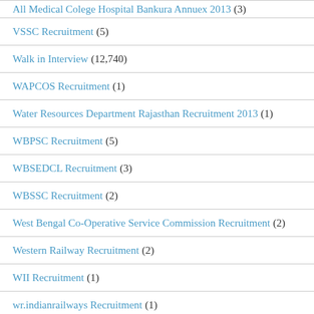All Medical Colege Hospital Bankura Annuex 2013 (3)
VSSC Recruitment (5)
Walk in Interview (12,740)
WAPCOS Recruitment (1)
Water Resources Department Rajasthan Recruitment 2013 (1)
WBPSC Recruitment (5)
WBSEDCL Recruitment (3)
WBSSC Recruitment (2)
West Bengal Co-Operative Service Commission Recruitment (2)
Western Railway Recruitment (2)
WII Recruitment (1)
wr.indianrailways Recruitment (1)